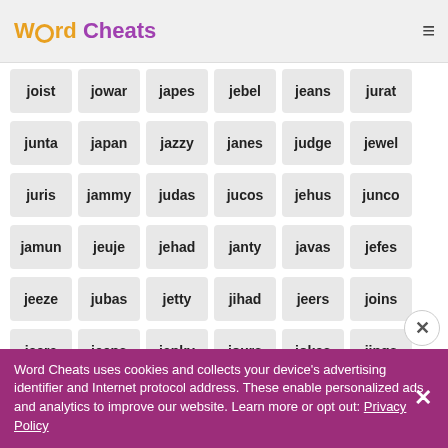Word Cheats
joist jowar japes jebel jeans jurat
junta japan jazzy janes judge jewel
juris jammy judas jucos jehus junco
jamun jeuje jehad janty javas jefes
jeeze jubas jetty jihad jeers joins
jeera jeeps janky jours jokes jings
Word Cheats uses cookies and collects your device's advertising identifier and Internet protocol address. These enable personalized ads and analytics to improve our website. Learn more or opt out: Privacy Policy